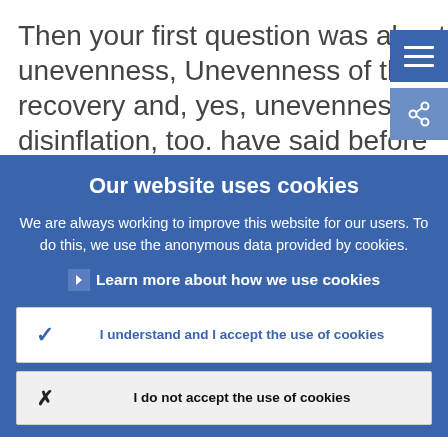Then your first question was about unevenness, Unevenness of the recovery and, yes, unevenness of disinflation, too. have said before that a good part of the
Our website uses cookies
We are always working to improve this website for our users. To do this, we use the anonymous data provided by cookies.
Learn more about how we use cookies
I understand and I accept the use of cookies
I do not accept the use of cookies